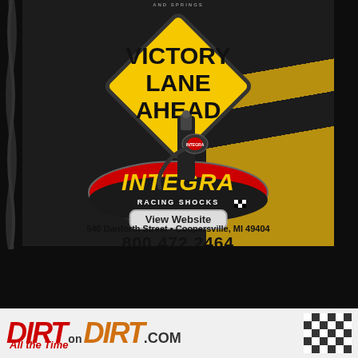[Figure (illustration): Integra Racing Shocks and Springs advertisement. Features a yellow diamond road sign reading 'VICTORY LANE AHEAD', a black shock absorber product, the Integra Racing Shocks and Springs oval logo with red and yellow branding, a 'View Website' button, address '540 Danforth Street • Coopersville, MI 49404', and phone number '800.472.2464' on a dark road-themed background.]
[Figure (logo): DirtOnDirt.com logo banner at the bottom. Red 'DIRT' text, 'on' in small text, orange 'DIRT', '.COM' in dark text, with a checkered flag pattern on the right and 'All the Time' tagline in red italic.]